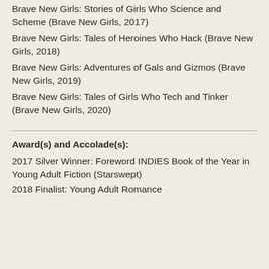Brave New Girls: Stories of Girls Who Science and Scheme (Brave New Girls, 2017)
Brave New Girls: Tales of Heroines Who Hack (Brave New Girls, 2018)
Brave New Girls: Adventures of Gals and Gizmos (Brave New Girls, 2019)
Brave New Girls: Tales of Girls Who Tech and Tinker (Brave New Girls, 2020)
Award(s) and Accolade(s):
2017 Silver Winner: Foreword INDIES Book of the Year in Young Adult Fiction (Starswept)
2018 Finalist: Young Adult Romance